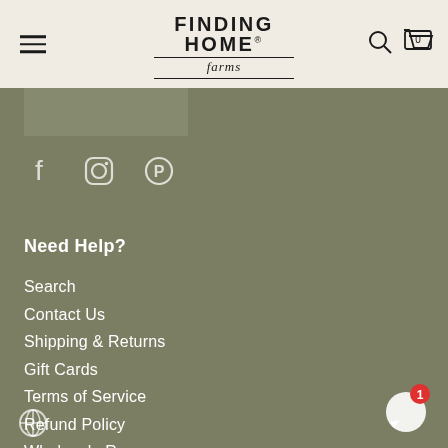Finding Home Farms - navigation header with hamburger menu, logo, search and cart icons
[Figure (logo): Finding Home Farms logo with bold uppercase text and cursive 'farms' subtitle]
[Figure (illustration): Social media icons for Facebook, Instagram, and Pinterest on olive/sage green background]
Need Help?
Search
Contact Us
Shipping & Returns
Gift Cards
Terms of Service
Refund Policy
Wholesale Resources